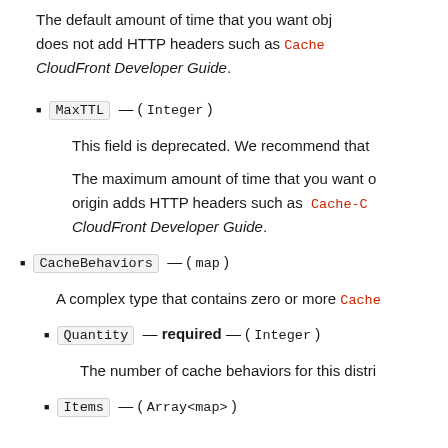The default amount of time that you want objects to stay in CloudFront caches before CloudFront forwards another request to your origin to determine whether the object has been updated. The value that you specify applies only when your origin does not add HTTP headers such as Cache-Control max-age, Cache-Control s-maxage, and Expires to objects. For more information, see Managing How Long Content Stays in an Edge Cache (Expiration) in the Amazon CloudFront Developer Guide.
MaxTTL — (Integer)
This field is deprecated. We recommend that you use the DefaultTTL field in a cache policy instead of this field.
The maximum amount of time that you want objects to stay in CloudFront caches before CloudFront forwards another request to your origin to determine whether the object has been updated. The value that you specify applies only when your origin adds HTTP headers such as Cache-Control max-age, Cache-Control s-maxage, and Expires to objects. For more information, see Managing How Long Content Stays in an Edge Cache (Expiration) in the Amazon CloudFront Developer Guide.
CacheBehaviors — (map)
A complex type that contains zero or more CacheBehavior elements.
Quantity — required — (Integer)
The number of cache behaviors for this distribution.
Items — (Array<map>)